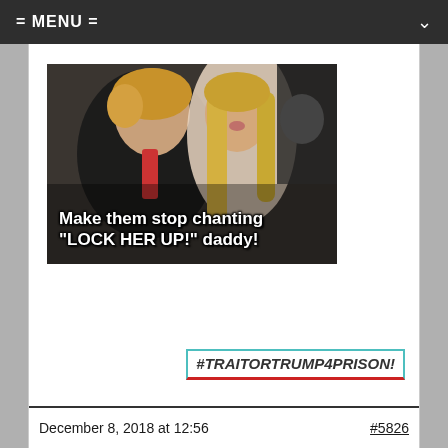= MENU =
[Figure (photo): Photo-based meme showing two people at a formal event with white bold text overlay reading: Make them stop chanting "LOCK HER UP!" daddy!]
#TRAITORTRUMP4PRISON!
December 8, 2018 at 12:56   #5826